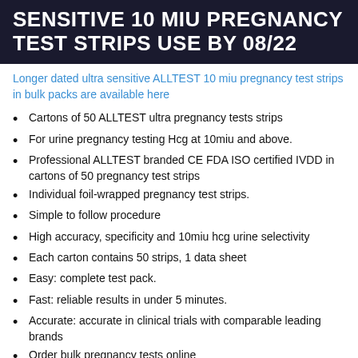SENSITIVE 10 MIU PREGNANCY TEST STRIPS USE BY 08/22
Longer dated ultra sensitive ALLTEST 10 miu pregnancy test strips in bulk packs are available here
Cartons of 50 ALLTEST ultra pregnancy tests strips
For urine pregnancy testing Hcg at 10miu and above.
Professional ALLTEST branded CE FDA ISO certified IVDD in cartons of 50 pregnancy test strips
Individual foil-wrapped pregnancy test strips.
Simple to follow procedure
High accuracy, specificity and 10miu hcg urine selectivity
Each carton contains 50 strips, 1 data sheet
Easy: complete test pack.
Fast: reliable results in under 5 minutes.
Accurate: accurate in clinical trials with comparable leading brands
Order bulk pregnancy tests online
Contact our trade team to buy wholesale pregnancy test strips in larger volumes than are available online